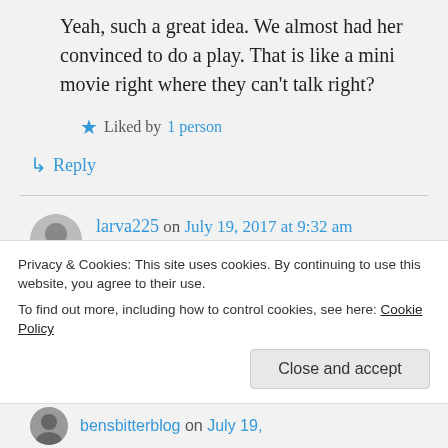Yeah, such a great idea. We almost had her convinced to do a play. That is like a mini movie right where they can't talk right?
Liked by 1 person
Reply
larva225 on July 19, 2017 at 9:32 am
Is there a mime studio anywhere close?
Privacy & Cookies: This site uses cookies. By continuing to use this website, you agree to their use.
To find out more, including how to control cookies, see here: Cookie Policy
Close and accept
bensbitterblog on July 19,